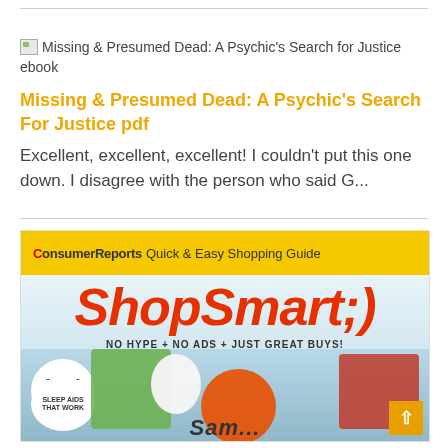Missing & Presumed Dead: A Psychic's Search for Justice ebook
Missing & Presumed Dead: A Psychic's Search For Justice pdf
Excellent, excellent, excellent! I couldn't put this one down. I disagree with the person who said G...
[Figure (photo): Cover of Consumer Reports ShopSmart Quick & Easy Shopping Guide magazine showing 'SHOPSMART;)' in large red text on yellow background with food items including vegetables, eggs, tomato, berries, and text 'NO HYPE + NO ADS + JUST GREAT BUYS!']